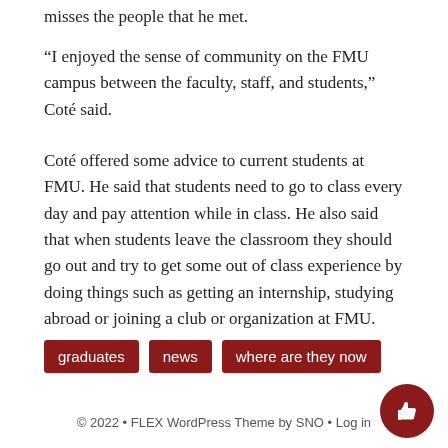misses the people that he met.
“I enjoyed the sense of community on the FMU campus between the faculty, staff, and students,” Coté said.
Coté offered some advice to current students at FMU. He said that students need to go to class every day and pay attention while in class. He also said that when students leave the classroom they should go out and try to get some out of class experience by doing things such as getting an internship, studying abroad or joining a club or organization at FMU.
graduates
news
where are they now
© 2022 • FLEX WordPress Theme by SNO • Log in